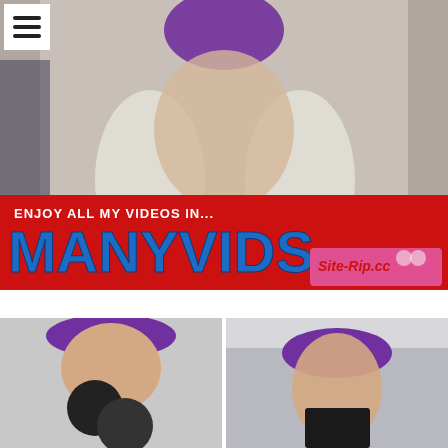[Figure (screenshot): Webcam screenshot of a person with purple hair in white stockings on a bed, with a red banner overlay showing 'ENJOY ALL MY VIDEOS IN...' and 'MANYVIDS' in large blue letters, and 'Site-Rip.cc' watermark. A hamburger menu icon appears in the top-left corner.]
[Figure (screenshot): Two side-by-side screenshots of a person with purple hair.]